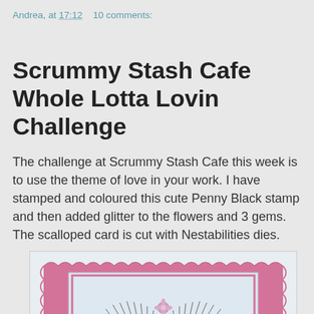Andrea, at 17:12    10 comments:
Scrummy Stash Cafe Whole Lotta Lovin Challenge
The challenge at Scrummy Stash Cafe this week is to use the theme of love in your work. I have stamped and coloured this cute Penny Black stamp and then added glitter to the flowers and 3 gems. The scalloped card is cut with Nestabilities dies.
[Figure (photo): A handmade card featuring two hedgehogs facing each other surrounded by roses and flowers, mounted on a pink scalloped background card cut with Nestabilities dies.]